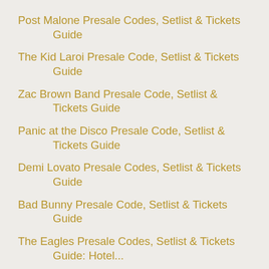Post Malone Presale Codes, Setlist & Tickets Guide
The Kid Laroi Presale Code, Setlist & Tickets Guide
Zac Brown Band Presale Code, Setlist & Tickets Guide
Panic at the Disco Presale Code, Setlist & Tickets Guide
Demi Lovato Presale Codes, Setlist & Tickets Guide
Bad Bunny Presale Code, Setlist & Tickets Guide
The Eagles Presale Codes, Setlist & Tickets Guide: Hotel...